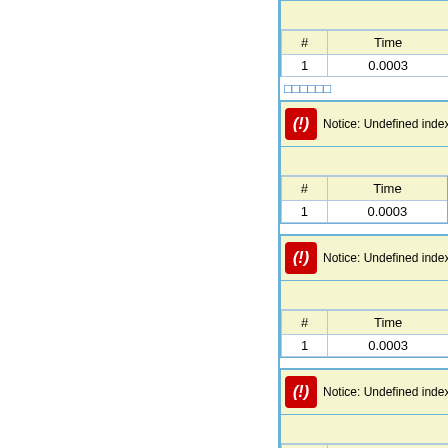| # | Time |
| --- | --- |
| 1 | 0.0003 |
□□□□□□
Notice: Undefined index:
| # | Time |
| --- | --- |
| 1 | 0.0003 |
Notice: Undefined index:
| # | Time |
| --- | --- |
| 1 | 0.0003 |
Notice: Undefined index:
| # | Time |
| --- | --- |
| 1 | 0.0003 |